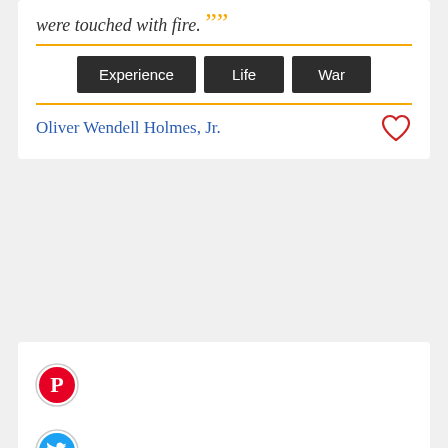were touched with fire. ”
Experience
Life
War
Oliver Wendell Holmes, Jr.
[Figure (logo): Pinterest circular icon button (red P on white with red border)]
[Figure (logo): Twitter circular icon button (blue bird on white with blue border)]
““ Three generations of imbeciles are enough. ””